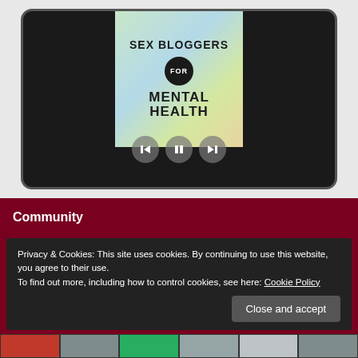[Figure (screenshot): A tablet/slideshow frame showing a 'Sex Bloggers for Mental Health' graphic with colorful background (green, blue, yellow gradient), a dark circular badge with 'FOR', and media controls (back, pause, forward) at the bottom of the slide.]
Community
Privacy & Cookies: This site uses cookies. By continuing to use this website, you agree to their use.
To find out more, including how to control cookies, see here: Cookie Policy
Close and accept